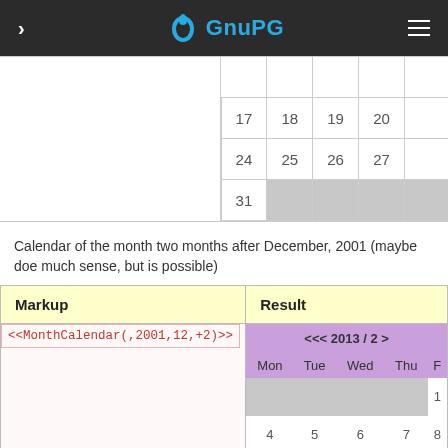GnuPG
|  | 17 | 18 | 19 | 20 |
|  | 24 | 25 | 26 | 27 |
|  | 31 |  |  |  |
Calendar of the month two months after December, 2001 (maybe does much sense, but is possible)
| Markup | Result |
| --- | --- |
| <<MonthCalendar(,2001,12,+2)>> | <<< 2013 / 2 > ... Mon Tue Wed Thu ... 1 ... 4 5 6 7 8 ... 11 12 13 14 |